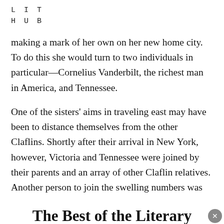LIT HUB
making a mark of her own on her new home city. To do this she would turn to two individuals in particular—Cornelius Vanderbilt, the richest man in America, and Tennessee.
One of the sisters' aims in traveling east may have been to distance themselves from the other Claflins. Shortly after their arrival in New York, however, Victoria and Tennessee were joined by their parents and an array of other Claflin relatives. Another person to join the swelling numbers was someone who remained very much a part of the extended family
The Best of the Literary